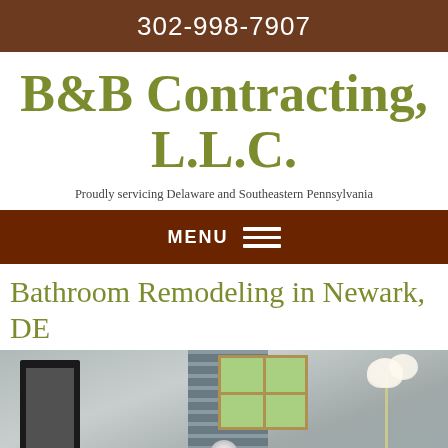302-998-7907
B&B Contracting, L.L.C.
Proudly servicing Delaware and Southeastern Pennsylvania
MENU
Bathroom Remodeling in Newark, DE
[Figure (photo): Interior photo of a remodeled bathroom showing mosaic tile walls, a window, chrome faucet fixture, white orchid flowers, and a dark framed picture on the left wall.]